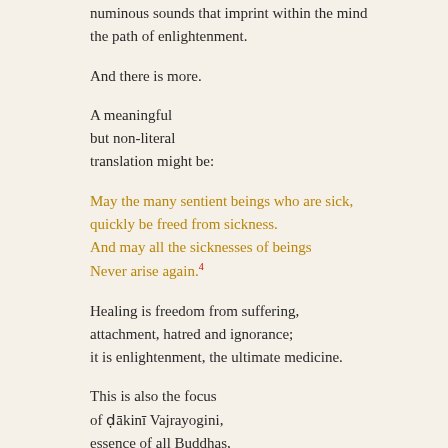numinous sounds that imprint within the mind the path of enlightenment.
And there is more.
A meaningful
but non-literal
translation might be:
May the many sentient beings who are sick,
quickly be freed from sickness.
And may all the sicknesses of beings
Never arise again.4
Healing is freedom from suffering,
attachment, hatred and ignorance;
it is enlightenment, the ultimate medicine.
This is also the focus
of ḍākinī Vajrayogini,
essence of all Buddhas,
transforming all experience
for enlightenment.